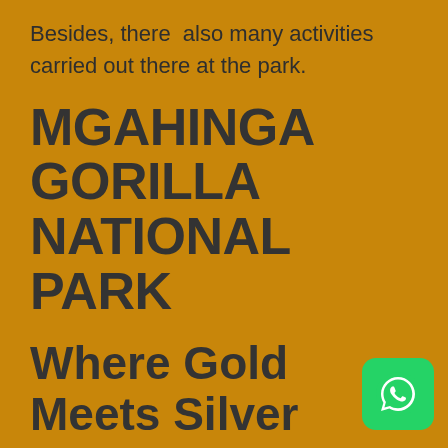Besides, there  also many activities carried out there at the park.
MGAHINGA GORILLA NATIONAL PARK
Where Gold Meets Silver
Mgahinga Gorilla National Park is located in Kisoro district in souther
[Figure (logo): WhatsApp icon button — green rounded square with white phone/chat icon]